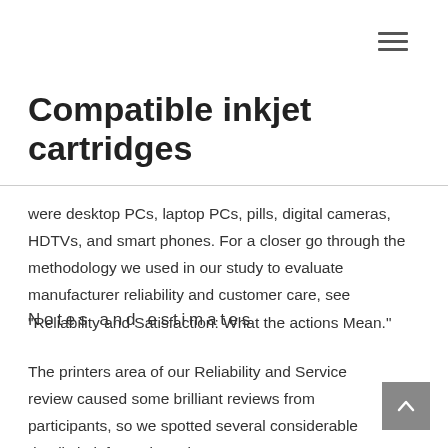≡
Compatible inkjet cartridges
were desktop PCs, laptop PCs, pills, digital cameras, HDTVs, and smart phones. For a closer go through the methodology we used in our study to evaluate manufacturer reliability and customer care, see "Reliability and Satisfaction: What the actions Mean."
Notes and estimates
The printers area of our Reliability and Service review caused some brilliant reviews from participants, so we spotted several considerable details in information, also: